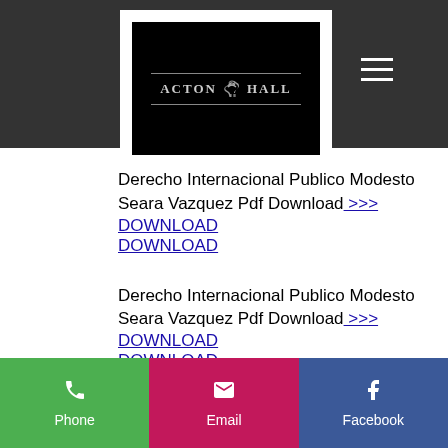[Figure (logo): Acton Hall logo: black background with horizontal decorative lines and text ACTON [horse icon] HALL in grey serif letters, surrounded by white border]
Derecho Internacional Publico Modesto Seara Vazquez Pdf Download >>> DOWNLOAD
Derecho Internacional Publico Modesto Seara Vazquez Pdf Download >>> DOWNLOAD
Phone | Email | Facebook